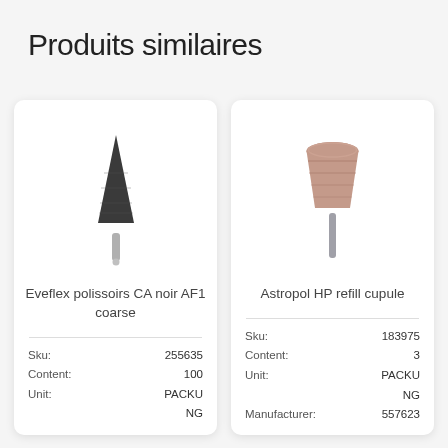Produits similaires
[Figure (illustration): Black pointed cone-shaped dental polisher on a metal shank (Eveflex CA noir AF1 coarse)]
Eveflex polissoirs CA noir AF1 coarse
|  |  |
| --- | --- |
| Sku: | 255635 |
| Content: | 100 |
| Unit: | PACKU
NG |
[Figure (illustration): Brown/mauve truncated cone-shaped rubber cup polisher on a metal shank (Astropol HP refill cupule)]
Astropol HP refill cupule
|  |  |
| --- | --- |
| Sku: | 183975 |
| Content: | 3 |
| Unit: | PACKAGING |
| Manufacturer: | 557623 |